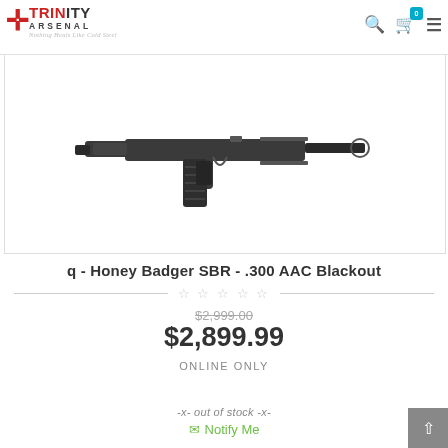Trinity Arsenal – Nothing Heals Like Cold Steel
[Figure (photo): Product photo of Q Honey Badger SBR in .300 AAC Blackout, showing the rifle with magazine and suppressor components against white background]
q - Honey Badger SBR - .300 AAC Blackout
★☆☆☆☆ (rating stars, all empty)
$2,999.00 (original price, struck through)
$2,899.99
ONLINE ONLY
-x- out of stock -x-
✉ Notify Me